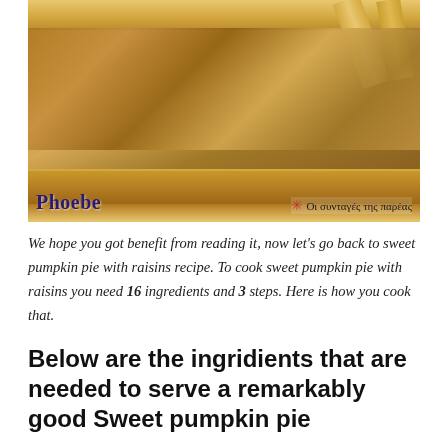[Figure (photo): A slice of sweet pumpkin pie with raisins on a red and white checkered tablecloth. The pie has a golden lattice crust on top and a thick filling visible from the side. Bottom left shows the name 'Phoebe' and bottom right shows a Greek text logo 'Οι συνταγές της παρέας'.]
We hope you got benefit from reading it, now let's go back to sweet pumpkin pie with raisins recipe. To cook sweet pumpkin pie with raisins you need 16 ingredients and 3 steps. Here is how you cook that.
Below are the ingridients that are needed to serve a remarkably good Sweet pumpkin pie